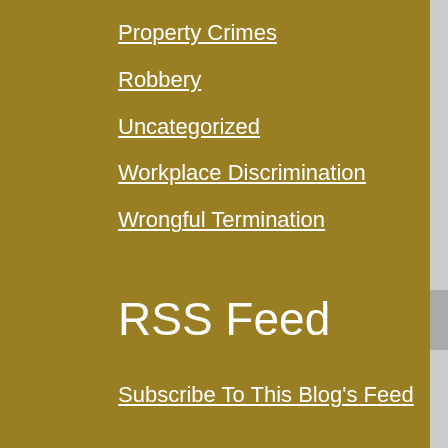Property Crimes
Robbery
Uncategorized
Workplace Discrimination
Wrongful Termination
RSS Feed
Subscribe To This Blog's Feed
[Figure (logo): FindLaw Network logo with orange FindLaw text and gray Network text]